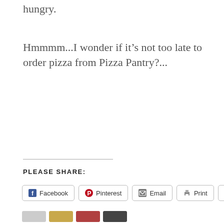hungry.
Hmmmm...I wonder if it's not too late to order pizza from Pizza Pantry?...
PLEASE SHARE:
Facebook  Pinterest  Email  Print  More